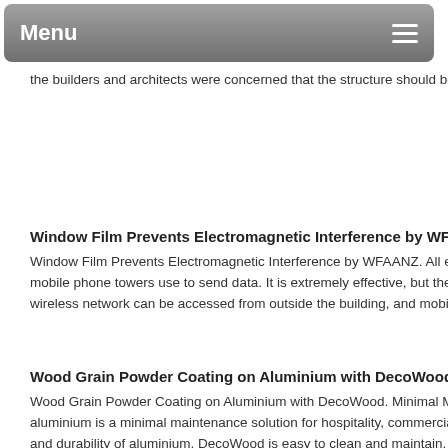Menu
the builders and architects were concerned that the structure should be compl
Window Film Prevents Electromagnetic Interference by WFAANZ
Window Film Prevents Electromagnetic Interference by WFAANZ. All electr mobile phone towers use to send data. It is extremely effective, but there are wireless network can be accessed from outside the building, and mobile phor
Wood Grain Powder Coating on Aluminium with DecoWood
Wood Grain Powder Coating on Aluminium with DecoWood. Minimal Main aluminium is a minimal maintenance solution for hospitality, commercial and and durability of aluminium. DecoWood is easy to clean and maintain, certai